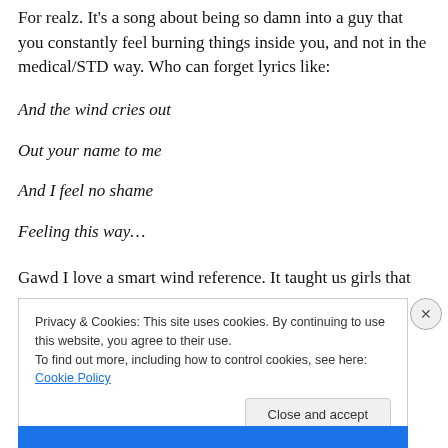For realz. It's a song about being so damn into a guy that you constantly feel burning things inside you, and not in the medical/STD way. Who can forget lyrics like:
And the wind cries out
Out your name to me
And I feel no shame
Feeling this way…
Gawd I love a smart wind reference. It taught us girls that
Privacy & Cookies: This site uses cookies. By continuing to use this website, you agree to their use.
To find out more, including how to control cookies, see here: Cookie Policy